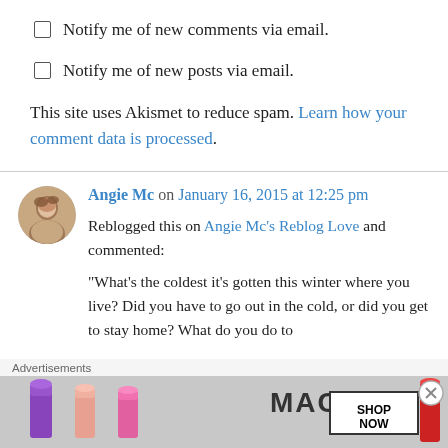Notify me of new comments via email.
Notify me of new posts via email.
This site uses Akismet to reduce spam. Learn how your comment data is processed.
Angie Mc on January 16, 2015 at 12:25 pm
Reblogged this on Angie Mc's Reblog Love and commented:
“What’s the coldest it’s gotten this winter where you live? Did you have to go out in the cold, or did you get to stay home? What do you do to
Advertisements